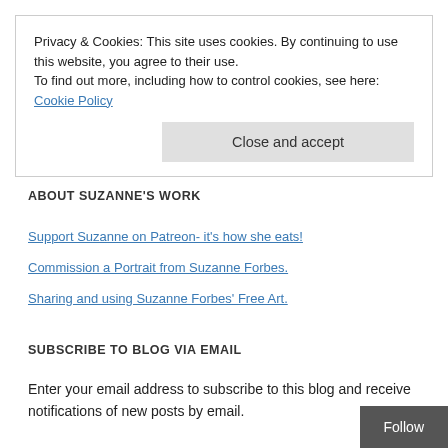Privacy & Cookies: This site uses cookies. By continuing to use this website, you agree to their use.
To find out more, including how to control cookies, see here: Cookie Policy
Close and accept
ABOUT SUZANNE'S WORK
Support Suzanne on Patreon- it's how she eats!
Commission a Portrait from Suzanne Forbes.
Sharing and using Suzanne Forbes' Free Art.
SUBSCRIBE TO BLOG VIA EMAIL
Enter your email address to subscribe to this blog and receive notifications of new posts by email.
Follow